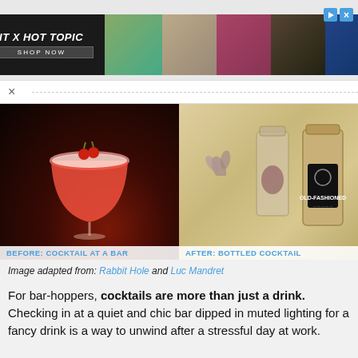[Figure (photo): Advertisement banner for 'FIT X HOT TOPIC' with SHOP NOW button and photos of models]
[Figure (photo): Two-panel image: left panel shows a pink/red cocktail in a coupe glass labeled 'BEFORE: COCKTAIL AT A BAR'; right panel shows packaged bottled cocktail pouches labeled 'AFTER: BOTTLED COCKTAIL']
Image adapted from: Rabbit Hole and Luc Mandret
For bar-hoppers, cocktails are more than just a drink. Checking in at a quiet and chic bar dipped in muted lighting for a fancy drink is a way to unwind after a stressful day at work.